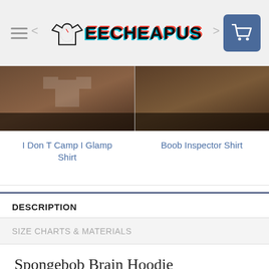TEECHEAPUS
[Figure (screenshot): Two product thumbnail images side by side on a wooden background — left shows a shirt product, right shows another shirt product, both with dark overlay at bottom]
I Don T Camp I Glamp Shirt
Boob Inspector Shirt
DESCRIPTION
SIZE CHARTS & MATERIALS
Spongebob Brain Hoodie